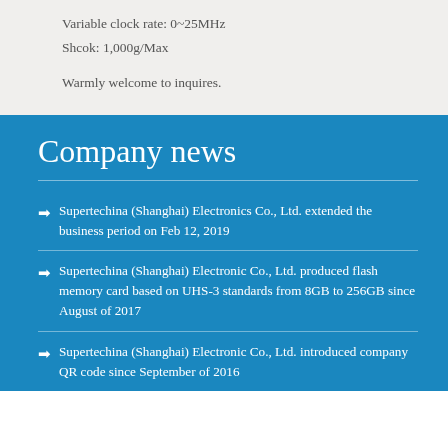Variable clock rate: 0~25MHz
Shcok: 1,000g/Max
Warmly welcome to inquires.
Company news
Supertechina (Shanghai) Electronics Co., Ltd. extended the business period on Feb 12, 2019
Supertechina (Shanghai) Electronic Co., Ltd. produced flash memory card based on UHS-3 standards from 8GB to 256GB since August of 2017
Supertechina (Shanghai) Electronic Co., Ltd. introduced company QR code since September of 2016